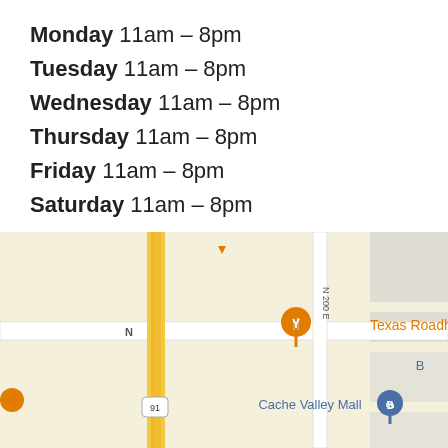Monday 11am – 8pm
Tuesday 11am – 8pm
Wednesday 11am – 8pm
Thursday 11am – 8pm
Friday 11am – 8pm
Saturday 11am – 8pm
[Figure (map): Google Maps screenshot showing area around Cache Valley Mall in Logan, Utah. Landmarks visible: Mountain America Credit Union, Texas Roadhouse, Culver's, Cache Valley Mall, Mt. Logan Clinic. Roads shown include N 200 E and Route 91.]